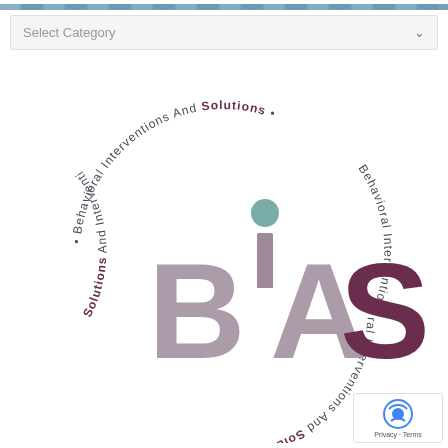Select Category
[Figure (logo): BIAS (Behavioral Interventions And Solutions) circular logo with large letters B, i, A, S in the center and the full name repeated around the circle]
Privacy · Terms